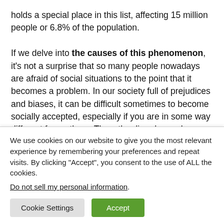holds a special place in this list, affecting 15 million people or 6.8% of the population.

If we delve into the causes of this phenomenon, it's not a surprise that so many people nowadays are afraid of social situations to the point that it becomes a problem. In our society full of prejudices and biases, it can be difficult sometimes to become socially accepted, especially if you are in some way different from others. Thus, the disorder evolves from the fear of being judged or embarrassed by
We use cookies on our website to give you the most relevant experience by remembering your preferences and repeat visits. By clicking "Accept", you consent to the use of ALL the cookies.
Do not sell my personal information.